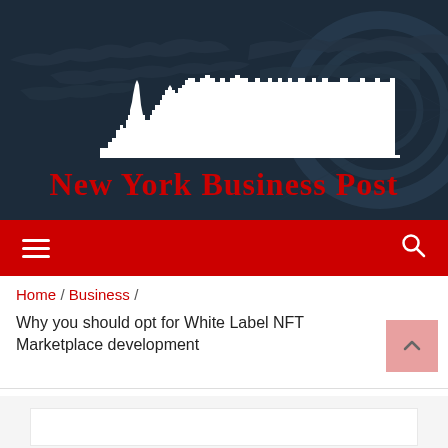[Figure (logo): New York Business Post logo with Statue of Liberty and city skyline silhouette on dark background with world map]
New York Business Post
Navigation bar with hamburger menu and search icon
Home / Business / Why you should opt for White Label NFT Marketplace development